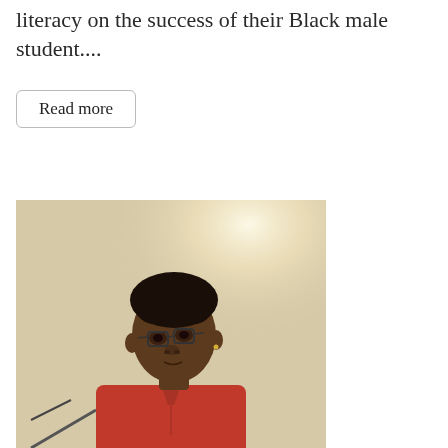literacy on the success of their Black male student....
Read more
[Figure (photo): A young Black male student wearing glasses and a red polo shirt, looking upward and to his right, standing in front of a light-colored wall near a microphone.]